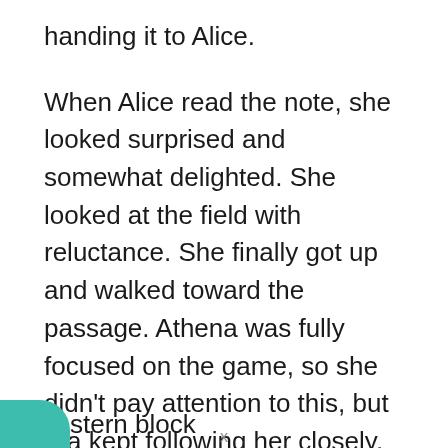handing it to Alice.
When Alice read the note, she looked surprised and somewhat delighted. She looked at the field with reluctance. She finally got up and walked toward the passage. Athena was fully focused on the game, so she didn't pay attention to this, but Kia kept following her closely.
Alice took Kia out of the noisy arena. They came all the way to the empty house in the eastern block